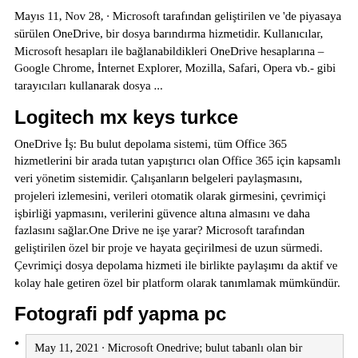Mayıs 11, Nov 28, · Microsoft tarafından geliştirilen ve 'de piyasaya sürülen OneDrive, bir dosya barındırma hizmetidir. Kullanıcılar, Microsoft hesapları ile bağlanabildikleri OneDrive hesaplarına –Google Chrome, İnternet Explorer, Mozilla, Safari, Opera vb.- gibi tarayıcıları kullanarak dosya ...
Logitech mx keys turkce
OneDrive İş: Bu bulut depolama sistemi, tüm Office 365 hizmetlerini bir arada tutan yapıştırıcı olan Office 365 için kapsamlı veri yönetim sistemidir. Çalışanların belgeleri paylaşmasını, projeleri izlemesini, verileri otomatik olarak girmesini, çevrimiçi işbirliği yapmasını, verilerini güvence altına almasını ve daha fazlasını sağlar.One Drive ne işe yarar? Microsoft tarafından geliştirilen özel bir proje ve hayata geçirilmesi de uzun sürmedi. Çevrimiçi dosya depolama hizmeti ile birlikte paylaşımı da aktif ve kolay hale getiren özel bir platform olarak tanımlamak mümkündür.
Fotografi pdf yapma pc
May 11, 2021 · Microsoft Onedrive; bulut tabanlı olan bir depolama platformudur. Microsoft hesabı bulunan herkesin, belirli bir boyuta kadar bu hizmeti ücretsiz bir şekilde